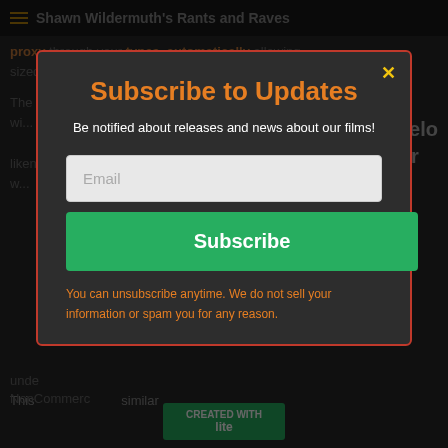[Figure (screenshot): Background webpage with dark theme showing partial text content behind modal overlay]
Subscribe to Updates
Be notified about releases and news about our films!
Email
Subscribe
You can unsubscribe anytime. We do not sell your information or spam you for any reason.